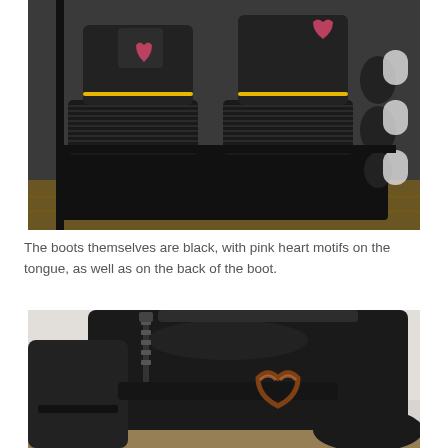[Figure (photo): Close-up photo of black Dr. Martens boots with yellow stitching and pink heart motifs on the tongue, sitting on a black shoe rack/organizer on a wooden floor]
The boots themselves are black, with pink heart motifs on the tongue, as well as on the back of the boot.
[Figure (photo): Close-up photo of black leather boots featuring a heart-shaped metal buckle/ring detail on the side, with a zipper visible, against a light grey background]